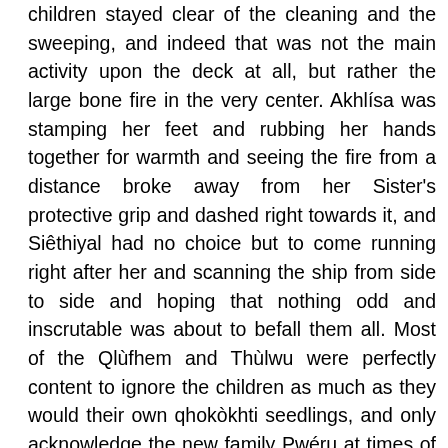children stayed clear of the cleaning and the sweeping, and indeed that was not the main activity upon the deck at all, but rather the large bone fire in the very center. Akhlísa was stamping her feet and rubbing her hands together for warmth and seeing the fire from a distance broke away from her Sister's protective grip and dashed right towards it, and Siêthiyal had no choice but to come running right after her and scanning the ship from side to side and hoping that nothing odd and inscrutable was about to befall them all. Most of the Qlùfhem and Thùlwu were perfectly content to ignore the children as much as they would their own qhokòkhti seedlings, and only acknowledge the new family Pwéru at times of ritual and reverance, at least until they grew up